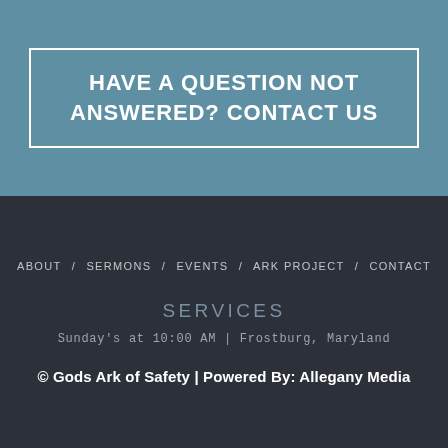HAVE A QUESTION NOT ANSWERED? CONTACT US
ABOUT / SERMONS / EVENTS / ARK PROJECT / CONTACT
SERVICES
Sunday's at 10:00 AM | Frostburg, Maryland
© Gods Ark of Safety | Powered By: Allegany Media